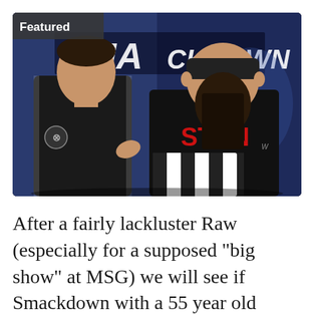[Figure (photo): Screenshot from WWE SmackDown showing two men in a wrestling arena. The man on the left wears a black jersey-style shirt with an Acura logo and text. The man on the right is larger with a beard, wearing a black t-shirt with 'STUN' in red letters and holding a black-and-white striped referee shirt. A SmackDown logo is visible in the background.]
After a fairly lackluster Raw (especially for a supposed "big show" at MSG) we will see if Smackdown with a 55 year old